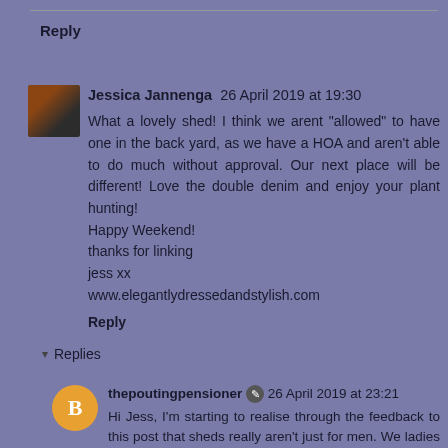Reply
Jessica Jannenga 26 April 2019 at 19:30
What a lovely shed! I think we arent "allowed" to have one in the back yard, as we have a HOA and aren't able to do much without approval. Our next place will be different! Love the double denim and enjoy your plant hunting!
Happy Weekend!
thanks for linking
jess xx
www.elegantlydressedandstylish.com
Reply
Replies
thepoutingpensioner 26 April 2019 at 23:21
Hi Jess, I'm starting to realise through the feedback to this post that sheds really aren't just for men. We ladies LOVE a good shed! Shame